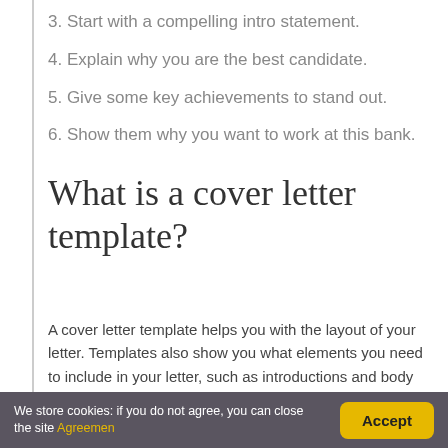3. Start with a compelling intro statement.
4. Explain why you are the best candidate.
5. Give some key achievements to stand out.
6. Show them why you want to work at this bank.
What is a cover letter template?
A cover letter template helps you with the layout of your letter. Templates also show you what elements you need to include in your letter, such as introductions and body paragraphs.
How do you start a
We store cookies: if you do not agree, you can close the site Agreemen